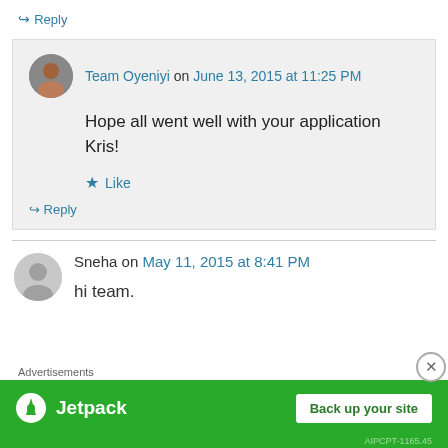↪ Reply
Team Oyeniyi on June 13, 2015 at 11:25 PM
Hope all went well with your application Kris!
★ Like
↪ Reply
Sneha on May 11, 2015 at 8:41 PM
hi team.
Advertisements
[Figure (screenshot): Jetpack advertisement banner with 'Back up your site' button]